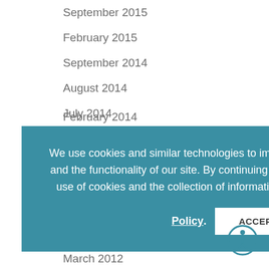September 2015
February 2015
September 2014
August 2014
July 2014
June 2014
February 2014
We use cookies and similar technologies to improve your browsing experience and the functionality of our site. By continuing to use our site, you agree to the use of cookies and the collection of information as described in our Privacy Policy.
March 2012